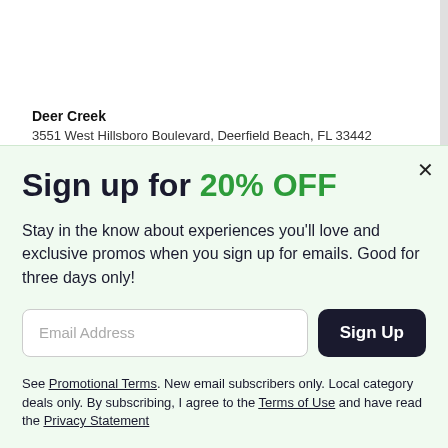Deer Creek
3551 West Hillsboro Boulevard, Deerfield Beach, FL 33442
Sign up for 20% OFF
Stay in the know about experiences you'll love and exclusive promos when you sign up for emails. Good for three days only!
Email Address
Sign Up
See Promotional Terms. New email subscribers only. Local category deals only. By subscribing, I agree to the Terms of Use and have read the Privacy Statement